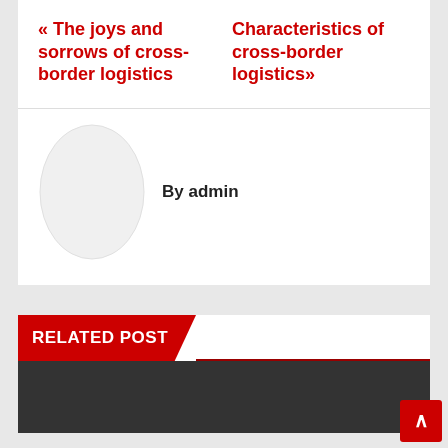« The joys and sorrows of cross-border logistics
Characteristics of cross-border logistics »
By admin
RELATED POST
[Figure (photo): Dark placeholder image area at bottom of page]